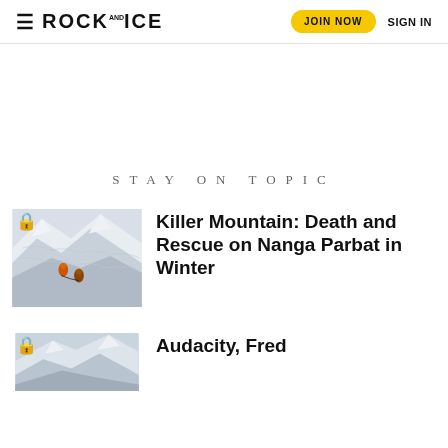≡ ROCK AND ICE | JOIN NOW | SIGN IN
STAY ON TOPIC
[Figure (photo): Two climbers ascending a steep snow/ice face on Nanga Parbat with a lock icon overlay]
Killer Mountain: Death and Rescue on Nanga Parbat in Winter
[Figure (photo): Partial view of snowy mountain scene with a lock icon overlay]
Audacity, Fred